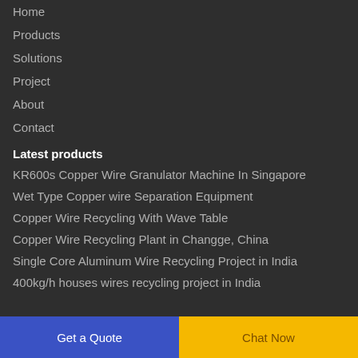Home
Products
Solutions
Project
About
Contact
Latest products
KR600s Copper Wire Granulator Machine In Singapore
Wet Type Copper wire Separation Equipment
Copper Wire Recycling With Wave Table
Copper Wire Recycling Plant in Changge, China
Single Core Aluminum Wire Recycling Project in India
400kg/h houses wires recycling project in India
Get a Quote
Chat Now